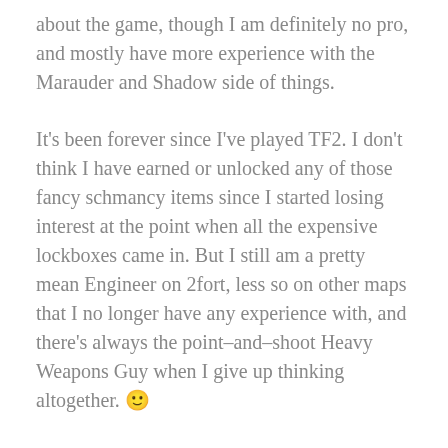about the game, though I am definitely no pro, and mostly have more experience with the Marauder and Shadow side of things.
It's been forever since I've played TF2. I don't think I have earned or unlocked any of those fancy schmancy items since I started losing interest at the point when all the expensive lockboxes came in. But I still am a pretty mean Engineer on 2fort, less so on other maps that I no longer have any experience with, and there's always the point–and–shoot Heavy Weapons Guy when I give up thinking altogether. 🙂